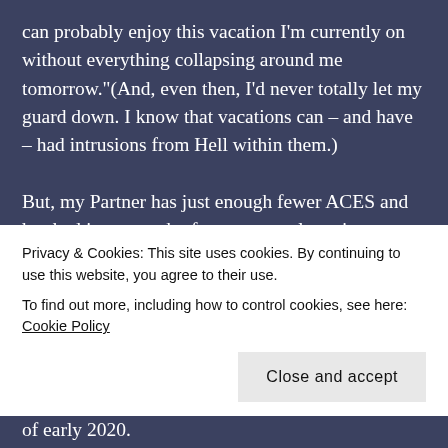can probably enjoy this vacation I'm currently on without everything collapsing around me tomorrow."(And, even then, I'd never totally let my guard down. I know that vacations can – and have – had intrusions from Hell within them.)

But, my Partner has just enough fewer ACES and has had just enough of a permanently patient answer (that he's willing to repeat a dozen times over to reassure me) for every possible human-made disaster scenario that I have been able to throw at him, that he has almost convinced me that, worst
Privacy & Cookies: This site uses cookies. By continuing to use this website, you agree to their use.
To find out more, including how to control cookies, see here: Cookie Policy
Close and accept
of early 2020.